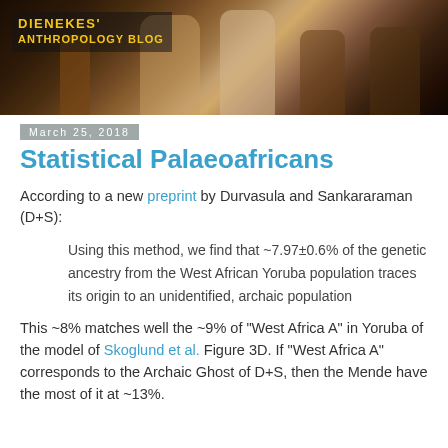[Figure (illustration): Blog header banner showing a classical painting (Death of Socrates) with figures on a dark background, and the blog title 'Dienekes' Anthropology Blog' in yellow text on the left]
March 25, 2018
Statistical Palaeoafricans
According to a new preprint by Durvasula and Sankararaman (D+S):
Using this method, we find that ~7.97±0.6% of the genetic ancestry from the West African Yoruba population traces its origin to an unidentified, archaic population
This ~8% matches well the ~9% of "West Africa A" in Yoruba of the model of Skoglund et al. Figure 3D. If "West Africa A" corresponds to the Archaic Ghost of D+S, then the Mende have the most of it at ~13%.